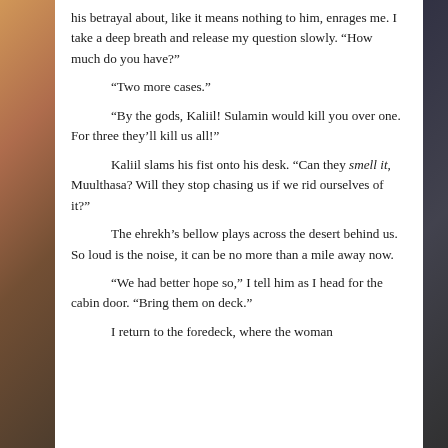his betrayal about, like it means nothing to him, enrages me. I take a deep breath and release my question slowly. “How much do you have?”
“Two more cases.”
“By the gods, Kaliil! Sulamin would kill you over one. For three they’ll kill us all!”
Kaliil slams his fist onto his desk. “Can they smell it, Muulthasa? Will they stop chasing us if we rid ourselves of it?”
The ehrekh’s bellow plays across the desert behind us. So loud is the noise, it can be no more than a mile away now.
“We had better hope so,” I tell him as I head for the cabin door. “Bring them on deck.”
I return to the foredeck, where the woman